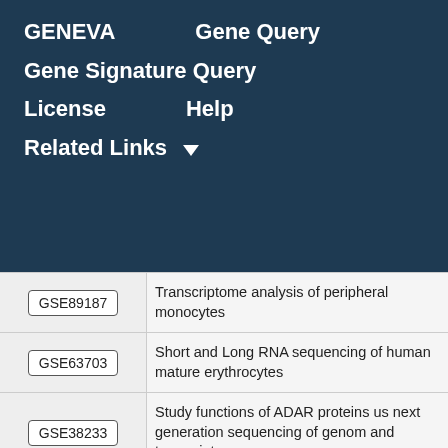GENEVA   Gene Query
Gene Signature Query
License   Help
Related Links ▼
| ID | Description |
| --- | --- |
| GSE89187 | Transcriptome analysis of peripheral monocytes |
| GSE63703 | Short and Long RNA sequencing of human mature erythrocytes |
| GSE38233 | Study functions of ADAR proteins us next generation sequencing of genom and transcriptome |